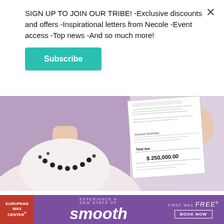SIGN UP TO JOIN OUR TRIBE! -Exclusive discounts and offers -Inspirational letters from Necole -Event access -Top news -And so much more!
Subscribe
[Figure (photo): A woman holding up a document/bill showing $250,000.00 against a purple background]
Virginia Seniors Get a $250000 Policy for only $18/month
Smart Lifestyle Trends
[Figure (infographic): European Wax Center advertisement banner: 'Experience a New State of smooth - First Wax free - Book Now']